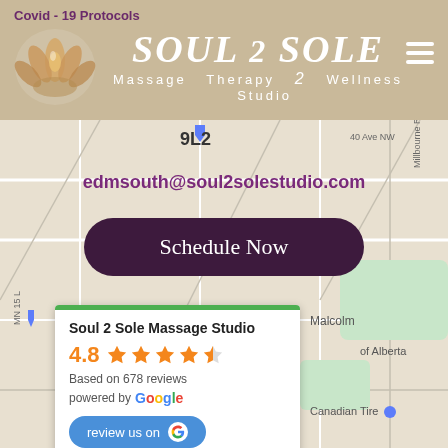Covid - 19 Protocols
[Figure (screenshot): Soul 2 Sole Massage Therapy & Wellness Studio logo with lotus flower]
[Figure (map): Google Maps screenshot showing location in Edmonton area with street map]
edmsouth@soul2solestudio.com
Schedule Now
Soul 2 Sole Massage Studio
4.8 Based on 678 reviews powered by Google
review us on Google